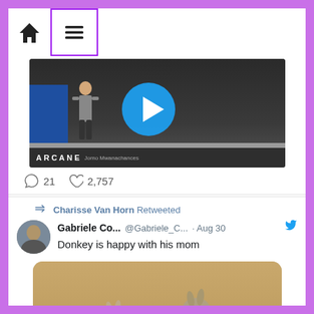[Figure (screenshot): Twitter/social media mobile app screenshot showing navigation bar with home icon and hamburger menu, a video thumbnail for 'ARCANE', reaction counts (21 comments, 2,757 likes), a retweet from Charisse Van Horn, tweet by Gabriele Co... @Gabriele_C... Aug 30 saying 'Donkey is happy with his mom', and a photo of two baby donkeys.]
21
2,757
Charisse Van Horn Retweeted
Gabriele Co...
@Gabriele_C...
Aug 30
Donkey is happy with his mom